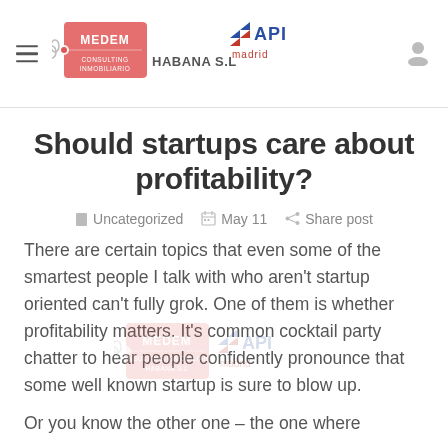MEDEM CONSULTING INMOBILIARIO HABANA S.L — API madrid
Should startups care about profitability?
Uncategorized  May 11  Share post
There are certain topics that even some of the smartest people I talk with who aren't startup oriented can't fully grok. One of them is whether profitability matters. It's common cocktail party chatter to hear people confidently pronounce that some well known startup is sure to blow up.
Or you know the other one – the one where